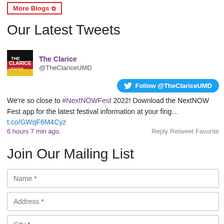More Blogs
Our Latest Tweets
The Clarice @TheClariceUMD
Follow @TheClariceUMD
We're so close to #NextNOWFest 2022! Download the NextNOW Fest app for the latest festival information at your fing…
t.co/GWqF6M4Cyz
6 hours 7 min ago.
Reply Retweet Favorite
Join Our Mailing List
Name *
Address *
City *